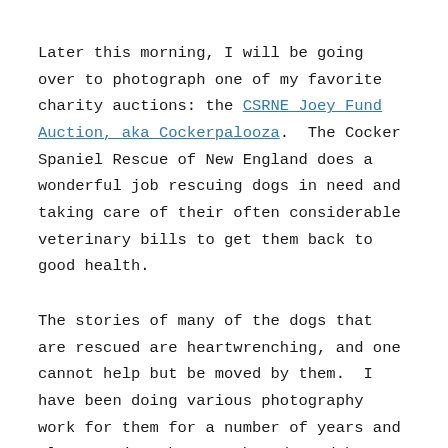Later this morning, I will be going over to photograph one of my favorite charity auctions: the CSRNE Joey Fund Auction, aka Cockerpalooza.  The Cocker Spaniel Rescue of New England does a wonderful job rescuing dogs in need and taking care of their often considerable veterinary bills to get them back to good health.
The stories of many of the dogs that are rescued are heartwrenching, and one cannot help but be moved by them.  I have been doing various photography work for them for a number of years and always enjoy the warmth and good heart of the people